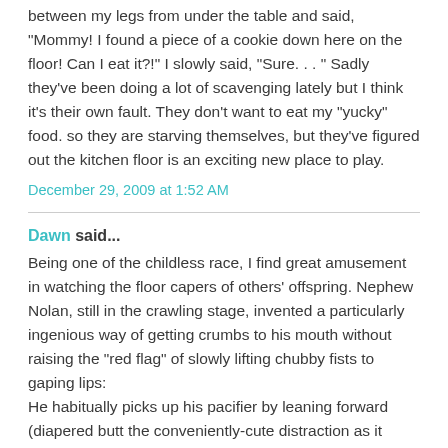between my legs from under the table and said, "Mommy! I found a piece of a cookie down here on the floor! Can I eat it?!" I slowly said, "Sure. . . " Sadly they've been doing a lot of scavenging lately but I think it's their own fault. They don't want to eat my "yucky" food. so they are starving themselves, but they've figured out the kitchen floor is an exciting new place to play.
December 29, 2009 at 1:52 AM
Dawn said...
Being one of the childless race, I find great amusement in watching the floor capers of others' offspring. Nephew Nolan, still in the crawling stage, invented a particularly ingenious way of getting crumbs to his mouth without raising the "red flag" of slowly lifting chubby fists to gaping lips:
He habitually picks up his pacifier by leaning forward (diapered butt the conveniently-cute distraction as it wiggles skyward) and sucking the paci into his mouth, completely bypassing the use of hands. Clever boy that